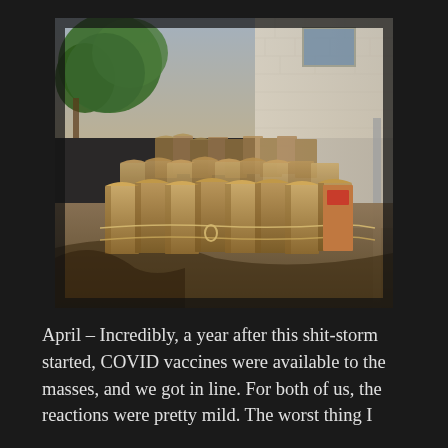[Figure (photo): Outdoor photo showing a large collection of brown paper bags arranged in rows on a dirt/gravel surface, cordoned off with rope. A white brick building is visible in the background on the right, and green trees on the left. The scene appears to be a food distribution setup.]
April – Incredibly, a year after this shit-storm started, COVID vaccines were available to the masses, and we got in line. For both of us, the reactions were pretty mild. The worst thing I